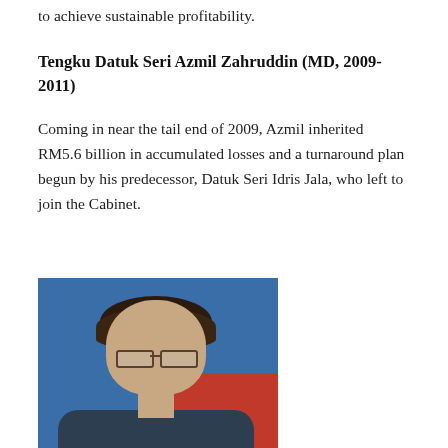to achieve sustainable profitability.
Tengku Datuk Seri Azmil Zahruddin (MD, 2009-2011)
Coming in near the tail end of 2009, Azmil inherited RM5.6 billion in accumulated losses and a turnaround plan begun by his predecessor, Datuk Seri Idris Jala, who left to join the Cabinet.
[Figure (photo): Portrait photograph of Tengku Datuk Seri Azmil Zahruddin, a man wearing glasses, with a blue and red background.]